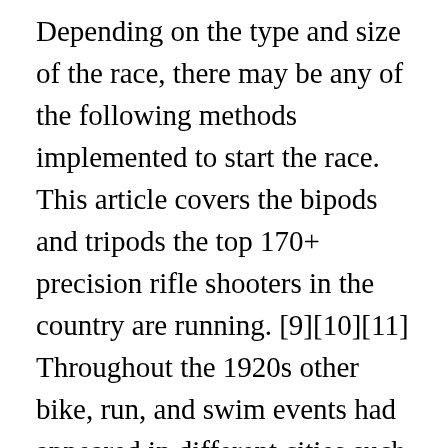Depending on the type and size of the race, there may be any of the following methods implemented to start the race. This article covers the bipods and tripods the top 170+ precision rifle shooters in the country are running. [9][10][11] Throughout the 1920s other bike, run, and swim events had appeared in different cities such as the "Course des Trois Sports" in Marseilles. Triathletes will often use their legs less vigorously and more carefully than other swimmers, conserving their leg muscles for the cycle and run to follow. Two major rule making bodies, the ITU and WTC, had an overlap of rules and authority, an issue which began to create conflict in the 2000s. This program shocked many that watched and